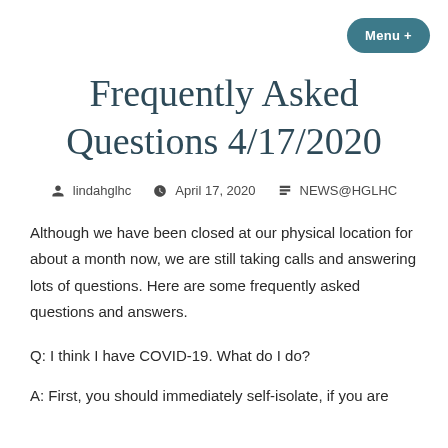Menu +
Frequently Asked Questions 4/17/2020
lindahglhc   April 17, 2020   NEWS@HGLHC
Although we have been closed at our physical location for about a month now, we are still taking calls and answering lots of questions. Here are some frequently asked questions and answers.
Q: I think I have COVID-19. What do I do?
A: First, you should immediately self-isolate, if you are